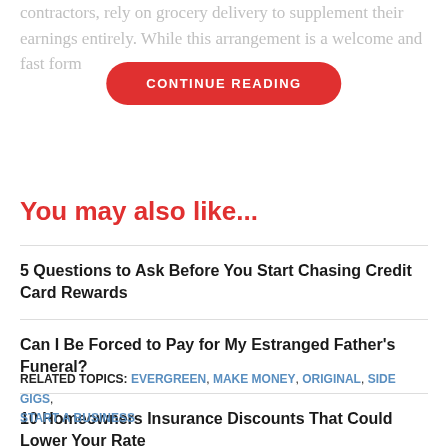contractors, rely on grocery delivery to supplement their earnings entirely. While this arrangement is a welcome and fast form
CONTINUE READING
You may also like...
5 Questions to Ask Before You Start Chasing Credit Card Rewards
Can I Be Forced to Pay for My Estranged Father's Funeral?
10 Homeowners Insurance Discounts That Could Lower Your Rate
How the Inflation Reduction Act Impacts Medicare Drug Prices
RELATED TOPICS: EVERGREEN, MAKE MONEY, ORIGINAL, SIDE GIGS, START A BUSINESS